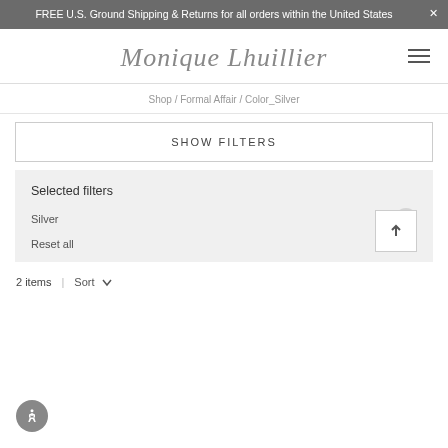FREE U.S. Ground Shipping & Returns for all orders within the United States
[Figure (logo): Monique Lhuillier script logo with hamburger menu icon]
Shop / Formal Affair / Color_Silver
SHOW FILTERS
Selected filters
Silver
Reset all
2 items  |  Sort